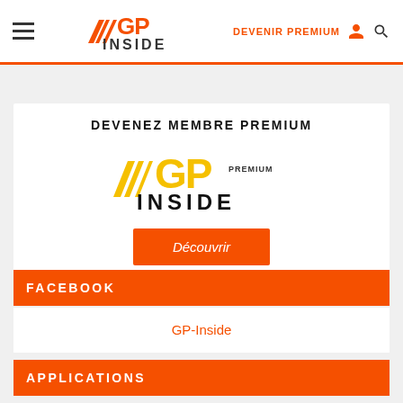[Figure (logo): GP Inside logo in orange and black with speed stripe marks]
DEVENIR PREMIUM
DEVENEZ MEMBRE PREMIUM
[Figure (logo): GP Inside Premium logo in yellow/gold and black]
Découvrir
FACEBOOK
GP-Inside
APPLICATIONS